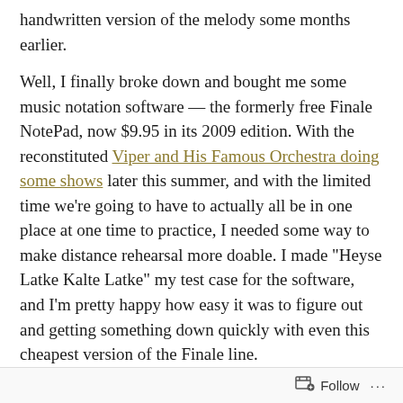handwritten version of the melody some months earlier.
Well, I finally broke down and bought me some music notation software — the formerly free Finale NotePad, now $9.95 in its 2009 edition. With the reconstituted Viper and His Famous Orchestra doing some shows later this summer, and with the limited time we're going to have to actually all be in one place at one time to practice, I needed some way to make distance rehearsal more doable. I made "Heyse Latke Kalte Latke" my test case for the software, and I'm pretty happy how easy it was to figure out and getting something down quickly with even this cheapest version of the Finale line.
I've saved the result here for download, and you can then follow along with this recording of the Paint Branch Ramblers practicing it last November (it goes into Bill Monroe's "Jerusalem Ridge" toward the end, but you can ignore that).
Follow ···